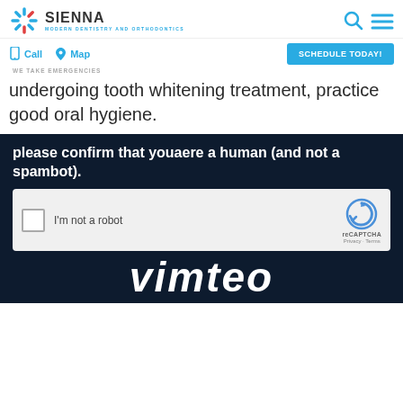SIENNA MODERN DENTISTRY AND ORTHODONTICS
Call   Map   WE TAKE EMERGENCIES   SCHEDULE TODAY!
undergoing tooth whitening treatment, practice good oral hygiene.
[Figure (screenshot): CAPTCHA verification overlay on dark background with reCAPTCHA widget showing 'I'm not a robot' checkbox, reCAPTCHA logo, Privacy - Terms links, and Vimeo logo text below]
please confirm that youae re a human (and not a spambot).